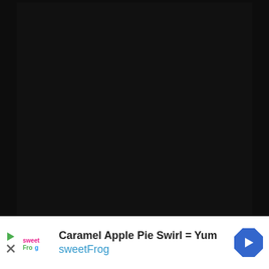[Figure (photo): Large dark/black area filling the upper portion of the page, appearing to be a darkened or blacked-out video or image content area]
[Figure (infographic): Advertisement banner at the bottom: sweetFrog frozen yogurt ad with play button icon, sweetFrog logo, text 'Caramel Apple Pie Swirl = Yum' and 'sweetFrog' in blue, and a blue diamond navigation arrow icon on the right]